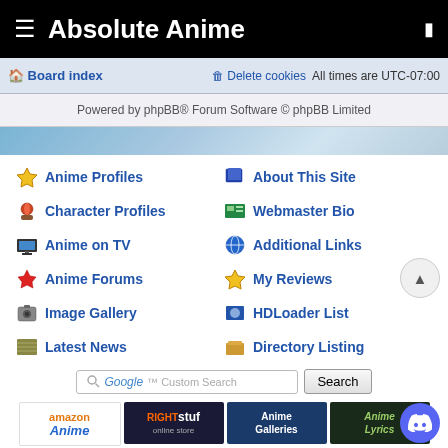Absolute Anime
Board index   Delete cookies   All times are UTC-07:00
Powered by phpBB® Forum Software © phpBB Limited
Anime Profiles
About This Site
Character Profiles
Webmaster Bio
Anime on TV
Additional Links
Anime Forums
My Reviews
Image Gallery
HDLoader List
Latest News
Directory Listing
[Figure (screenshot): Google Custom Search bar with Search button]
[Figure (infographic): Sponsor banners: amazon Anime, RightStuf online store, Anime Galleries, Anime Lyrics, TOKYOPOP]
Copyright © Absolute Anime™ • Contact Us • Privacy Notice • Powered by phpBB © 2000 – present phpBB Group